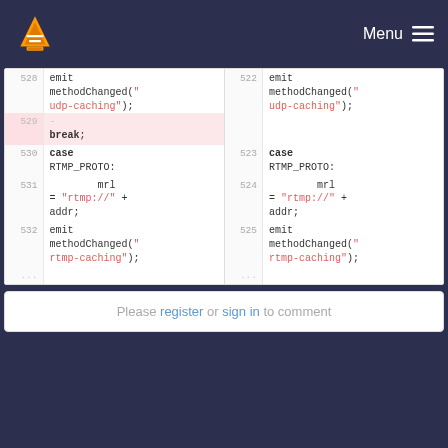VLC media player — diff view
[Figure (screenshot): Code diff view showing two panels with line numbers 528-532 on the left and 522-525 on the right, displaying code for emit methodChanged('udp-caching'); break; case RTMP_PROTO: mrl = 'rtmp://' + addr; emit methodChanged('rtmp-caching');]
Please register or sign in to comment